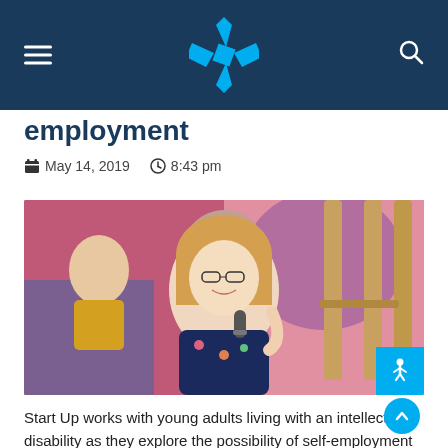Navigation bar with hamburger menu, logo, and search icon
employment
May 14, 2019   8:43 pm
[Figure (photo): A woman with blonde hair and glasses smiling and holding a microphone at an event, with colorful artwork in the background]
Start Up works with young adults living with an intellectual disability as they explore the possibility of self-employment through developing their own microbusiness.